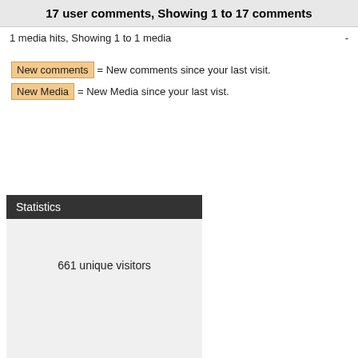17 user comments, Showing 1 to 17 comments
1 media hits, Showing 1 to 1 media  -
New comments = New comments since your last visit.
New Media = New Media since your last vist.
Statistics
661 unique visitors